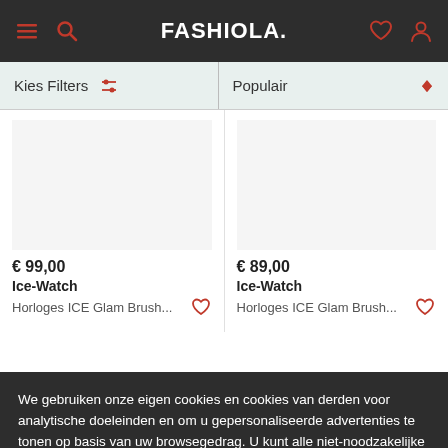FASHIOLA.
Kies Filters
Populair
€ 99,00
Ice-Watch
Horloges ICE Glam Brush...
€ 89,00
Ice-Watch
Horloges ICE Glam Brush...
We gebruiken onze eigen cookies en cookies van derden voor analytische doeleinden en om u gepersonaliseerde advertenties te tonen op basis van uw browsegedrag. U kunt alle niet-noodzakelijke cookies accepteren door op 'Accepteren' te drukken of ze weigeren door er niet op te drukken.
Meer informatie   Accepteren